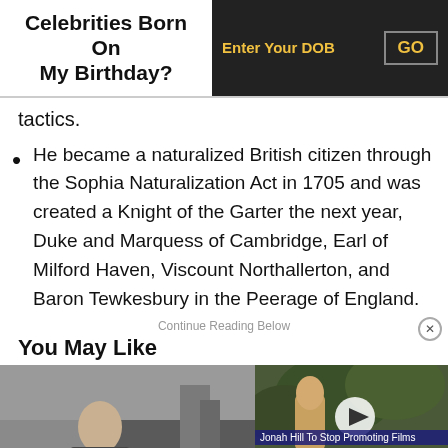Celebrities Born On My Birthday?
tactics.
He became a naturalized British citizen through the Sophia Naturalization Act in 1705 and was created a Knight of the Garter the next year, Duke and Marquess of Cambridge, Earl of Milford Haven, Viscount Northallerton, and Baron Tewkesbury in the Peerage of England.
Continue Reading Below
You May Like
[Figure (photo): Thumbnail photo of a man (celebrity) with dark background, part of You May Like section]
[Figure (screenshot): Video player thumbnail showing a man in a crowd at an event, with caption: Jonah Hill To Stop Promoting Films Due to Anxiety Attacks. Has a play button and close X button.]